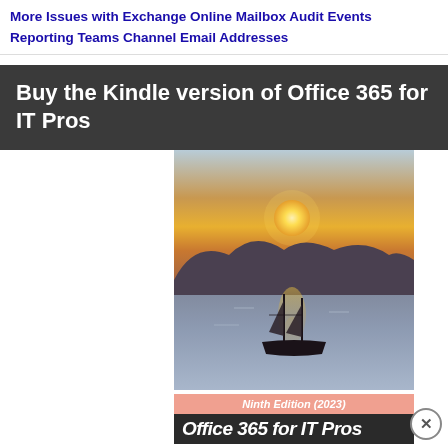More Issues with Exchange Online Mailbox Audit Events
Reporting Teams Channel Email Addresses
Buy the Kindle version of Office 365 for IT Pros
[Figure (photo): Book cover for Office 365 for IT Pros, Ninth Edition (2023), showing a sailing ship silhouette at sunset on calm water with hills in background. Pink bar reads 'Ninth Edition (2023)' and dark bar shows partial text 'Office 365 for IT Pros'.]
Advertisements
[Figure (photo): Victoria's Secret advertisement banner with woman's face on left, VS logo and 'Victoria's Secret' text in center, 'SHOP THE COLLECTION' text, and 'SHOP NOW' button on right, on pink gradient background.]